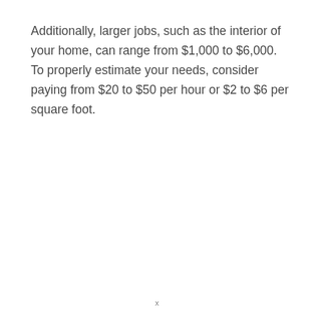Additionally, larger jobs, such as the interior of your home, can range from $1,000 to $6,000. To properly estimate your needs, consider paying from $20 to $50 per hour or $2 to $6 per square foot.
x